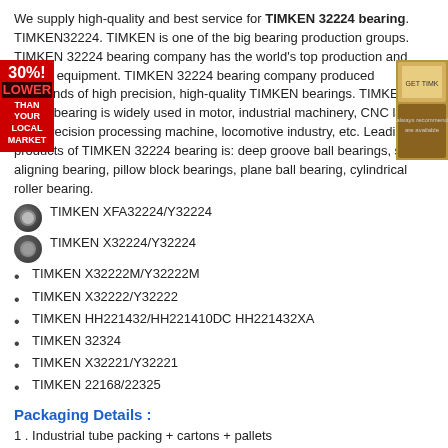We supply high-quality and best service for TIMKEN 32224 bearing. TIMKEN32224. TIMKEN is one of the big bearing production groups. TIMKEN 32224 bearing company has the world's top production and control equipment. TIMKEN 32224 bearing company produced thousands of high precision, high-quality TIMKEN bearings. TIMKEN 32224 bearing is widely used in motor, industrial machinery, CNC lathes, high-precision processing machine, locomotive industry, etc. Leading products of TIMKEN 32224 bearing is: deep groove ball bearings, self-aligning bearing, pillow block bearings, plane ball bearing, cylindrical roller bearing.
TIMKEN XFA32224/Y32224
TIMKEN X32224/Y32224
TIMKEN X32222M/Y32222M
TIMKEN X32222/Y32222
TIMKEN HH221432/HH221410DC HH221432XA
TIMKEN 32324
TIMKEN X32221/Y32221
TIMKEN 22168/22325
Packaging Details :
1 . Industrial tube packing + cartons + pallets
2 . Individual colorful or white box + carton + pallets
3 . As the clients ' requirement